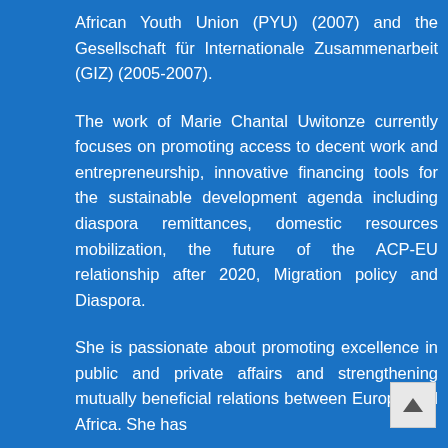African Youth Union (PYU) (2007) and the Gesellschaft für Internationale Zusammenarbeit (GIZ) (2005-2007).
The work of Marie Chantal Uwitonze currently focuses on promoting access to decent work and entrepreneurship, innovative financing tools for the sustainable development agenda including diaspora remittances, domestic resources mobilization, the future of the ACP-EU relationship after 2020, Migration policy and Diaspora.
She is passionate about promoting excellence in public and private affairs and strengthening mutually beneficial relations between Europe and Africa. She has